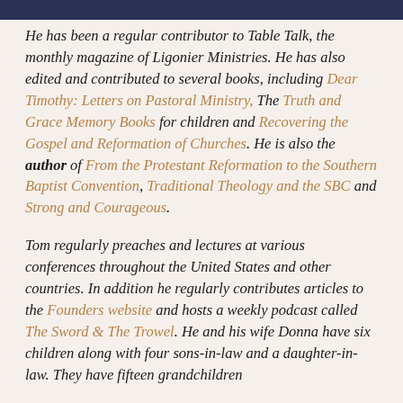He has been a regular contributor to Table Talk, the monthly magazine of Ligonier Ministries. He has also edited and contributed to several books, including Dear Timothy: Letters on Pastoral Ministry, The Truth and Grace Memory Books for children and Recovering the Gospel and Reformation of Churches. He is also the author of From the Protestant Reformation to the Southern Baptist Convention, Traditional Theology and the SBC and Strong and Courageous.
Tom regularly preaches and lectures at various conferences throughout the United States and other countries. In addition he regularly contributes articles to the Founders website and hosts a weekly podcast called The Sword & The Trowel. He and his wife Donna have six children along with four sons-in-law and a daughter-in-law. They have fifteen grandchildren